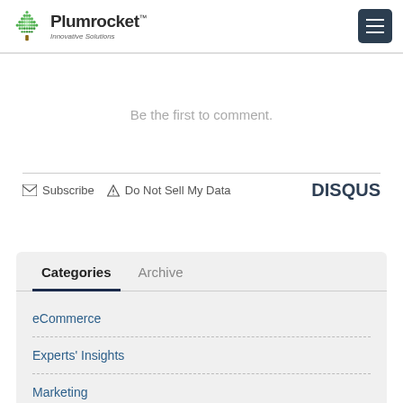Plumrocket Innovative Solutions
Be the first to comment.
Subscribe  Do Not Sell My Data  DISQUS
Categories  Archive
eCommerce
Experts' Insights
Marketing